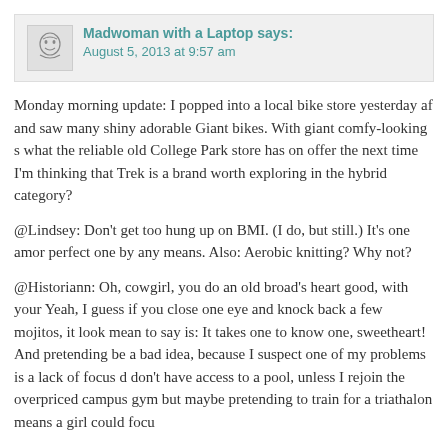Madwoman with a Laptop says: August 5, 2013 at 9:57 am
Monday morning update: I popped into a local bike store yesterday af and saw many shiny adorable Giant bikes. With giant comfy-looking s what the reliable old College Park store has on offer the next time I'm thinking that Trek is a brand worth exploring in the hybrid category?
@Lindsey: Don't get too hung up on BMI. (I do, but still.) It's one amon perfect one by any means. Also: Aerobic knitting? Why not?
@Historiann: Oh, cowgirl, you do an old broad's heart good, with your Yeah, I guess if you close one eye and knock back a few mojitos, it look mean to say is: It takes one to know one, sweetheart! And pretending be a bad idea, because I suspect one of my problems is a lack of focus don't have access to a pool, unless I rejoin the overpriced campus gym but maybe pretending to train for a triathalon means a girl could focu
@Meredith: I think you are right about mixing it up. And using techno just signed up for http://runkeeper.com/, which enables one to track a goals, etc.
Thanks again, everybody, for all the wisdom. What would I do withou body?